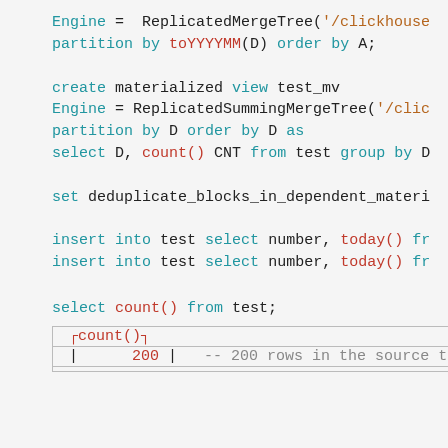Engine = ReplicatedMergeTree('/clickhouse... partition by toYYYYMM(D) order by A;
create materialized view test_mv Engine = ReplicatedSummingMergeTree('/clic... partition by D order by D as select D, count() CNT from test group by D
set deduplicate_blocks_in_dependent_materi...
insert into test select number, today() fr...
insert into test select number, today() fr...
select count() from test;
| count() |
| --- |
| 200 |
-- 200 rows in the source tes...